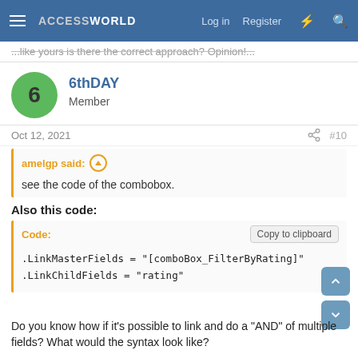ACCESSWORLD — Log in | Register
...like yours is there the correct approach? Opinion!...
6thDAY
Member
Oct 12, 2021  #10
amelgp said: ↑
see the code of the combobox.
Also this code:
Code:
.LinkMasterFields = "[comboBox_FilterByRating]"
.LinkChildFields = "rating"
Do you know how if it's possible to link and do a "AND" of multiple fields? What would the syntax look like?